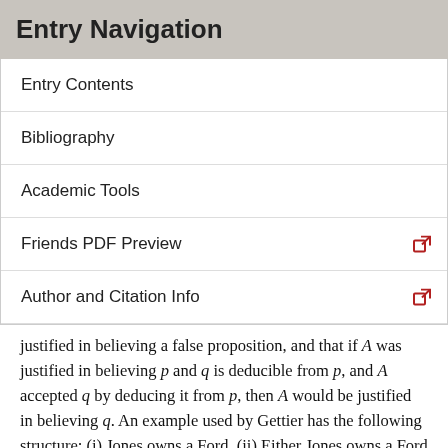Entry Navigation
Entry Contents
Bibliography
Academic Tools
Friends PDF Preview
Author and Citation Info
justified in believing a false proposition, and that if A was justified in believing p and q is deducible from p, and A accepted q by deducing it from p, then A would be justified in believing q. An example used by Gettier has the following structure: (i) Jones owns a Ford. (ii) Either Jones owns a Ford or Brown is in Boston. Smith believes, and has ample evidence for, (i). He deduces (ii) from (i), and so is justified in believing (ii), even though, in fact, he has no idea of where Brown is. It turns out that (i) is false, but (ii) is true – unbeknownst to Smith, Brown is indeed in Boston. Gettier concluded that in this case all three